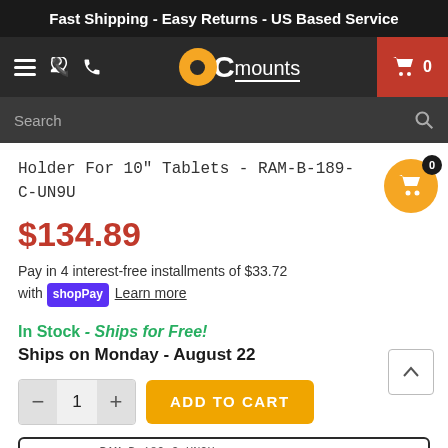Fast Shipping - Easy Returns - US Based Service
[Figure (logo): OC Mounts logo with orange circle O and white C mounts text on dark nav bar, with hamburger menu, phone icon, and red cart button showing 0]
Search
Holder For 10" Tablets - RAM-B-189-C-UN9U
$134.89
Pay in 4 interest-free installments of $33.72 with shop Pay Learn more
In Stock  - Ships for Free!
Ships on Monday - August 22
1  ADD TO CART
SETTING   RAM-B-189-C-UN9U